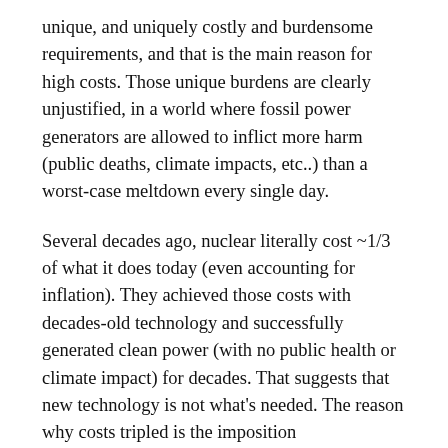unique, and uniquely costly and burdensome requirements, and that is the main reason for high costs. Those unique burdens are clearly unjustified, in a world where fossil power generators are allowed to inflict more harm (public deaths, climate impacts, etc..) than a worst-case meltdown every single day.
Several decades ago, nuclear literally cost ~1/3 of what it does today (even accounting for inflation). They achieved those costs with decades-old technology and successfully generated clean power (with no public health or climate impact) for decades. That suggests that new technology is not what's needed. The reason why costs tripled is the imposition